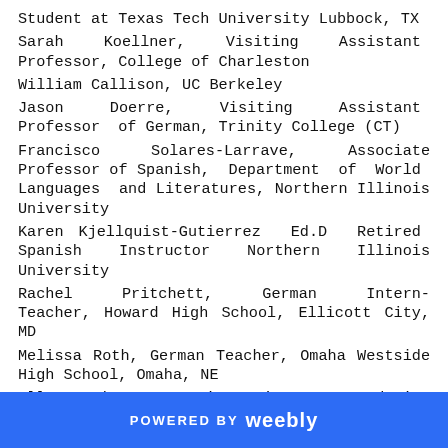Student at Texas Tech University Lubbock, TX
Sarah Koellner, Visiting Assistant Professor, College of Charleston
William Callison, UC Berkeley
Jason Doerre, Visiting Assistant Professor of German, Trinity College (CT)
Francisco Solares-Larrave, Associate Professor of Spanish, Department of World Languages and Literatures, Northern Illinois University
Karen Kjellquist-Gutierrez Ed.D Retired Spanish Instructor Northern Illinois University
Rachel Pritchett, German Intern-Teacher, Howard High School, Ellicott City, MD
Melissa Roth, German Teacher, Omaha Westside High School, Omaha, NE
Ellen Nahum Executive Director Academic & Career Support, Assistant Professor, German
POWERED BY weebly